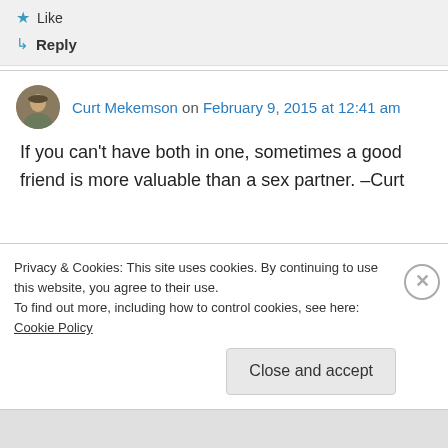★ Like
↳ Reply
Curt Mekemson on February 9, 2015 at 12:41 am
If you can't have both in one, sometimes a good friend is more valuable than a sex partner. –Curt
Privacy & Cookies: This site uses cookies. By continuing to use this website, you agree to their use.
To find out more, including how to control cookies, see here: Cookie Policy
Close and accept